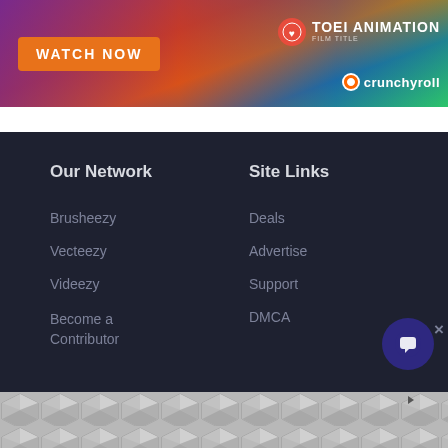[Figure (illustration): Toei Animation / Crunchyroll advertisement banner with 'WATCH NOW' button on orange background, anime characters, and Crunchyroll logo]
Our Network
Site Links
Brusheezy
Deals
Vecteezy
Advertise
Videezy
Support
Become a Contributor
DMCA
[Figure (illustration): Bottom advertisement banner with geometric hexagonal pattern in gray tones]